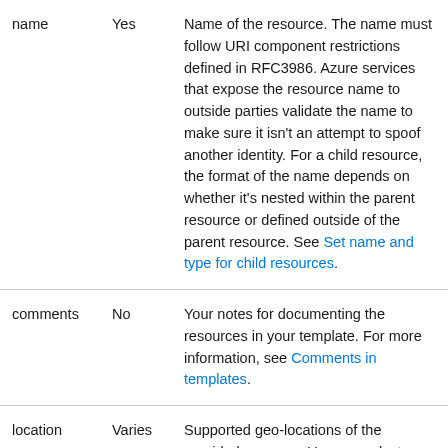| name | Yes | Name of the resource. The name must follow URI component restrictions defined in RFC3986. Azure services that expose the resource name to outside parties validate the name to make sure it isn't an attempt to spoof another identity. For a child resource, the format of the name depends on whether it's nested within the parent resource or defined outside of the parent resource. See Set name and type for child resources. |
| comments | No | Your notes for documenting the resources in your template. For more information, see Comments in templates. |
| location | Varies | Supported geo-locations of the provided resource. You can select any of the available locations, but typically it makes sense to pick one that is close to |